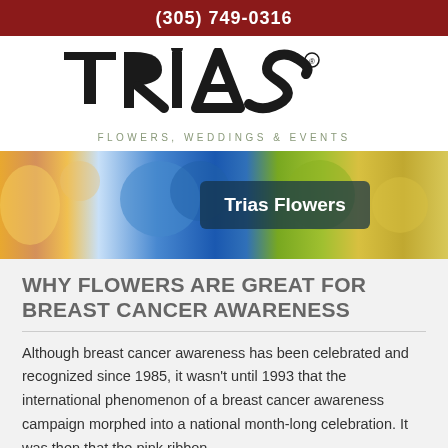(305) 749-0316
[Figure (logo): Trias Flowers, Weddings & Events logo with stylized TRIAS text and tagline]
[Figure (photo): Banner photo of colorful flowers (blue hydrangeas, yellow blooms, green flowers) with semi-transparent overlay text box reading 'Trias Flowers']
WHY FLOWERS ARE GREAT FOR BREAST CANCER AWARENESS
Although breast cancer awareness has been celebrated and recognized since 1985, it wasn't until 1993 that the international phenomenon of a breast cancer awareness campaign morphed into a national month-long celebration. It was then that the pink ribbon,